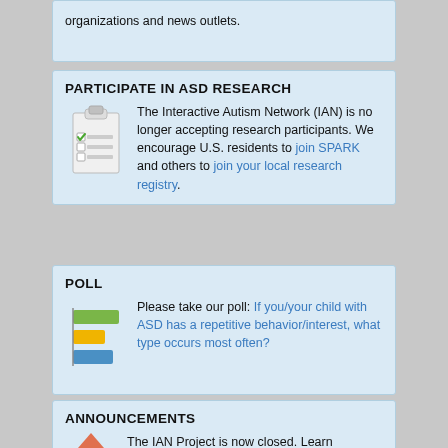organizations and news outlets.
PARTICIPATE IN ASD RESEARCH
The Interactive Autism Network (IAN) is no longer accepting research participants. We encourage U.S. residents to join SPARK and others to join your local research registry.
POLL
Please take our poll: If you/your child with ASD has a repetitive behavior/interest, what type occurs most often?
ANNOUNCEMENTS
The IAN Project is now closed. Learn